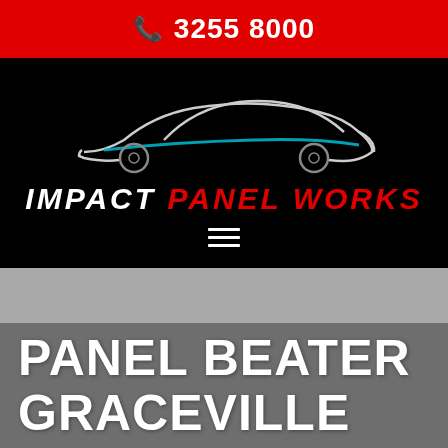📞 3255 8000
[Figure (logo): Impact Panel Works logo on black background: silhouette of a sports car in teal/dark outline, company name 'IMPACT PANEL WORKS' in white and red italic bold text, hamburger menu icon below]
PANEL BEATER GRACEVILLE